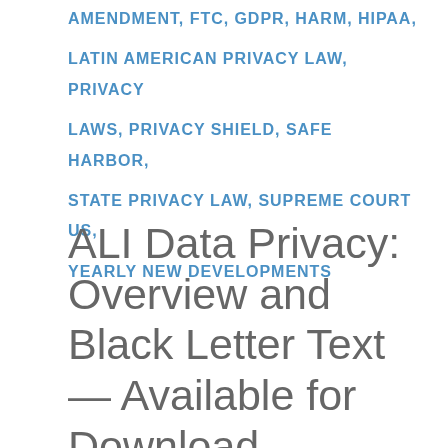AMENDMENT, FTC, GDPR, HARM, HIPAA, LATIN AMERICAN PRIVACY LAW, PRIVACY LAWS, PRIVACY SHIELD, SAFE HARBOR, STATE PRIVACY LAW, SUPREME COURT US, YEARLY NEW DEVELOPMENTS
ALI Data Privacy: Overview and Black Letter Text — Available for Download